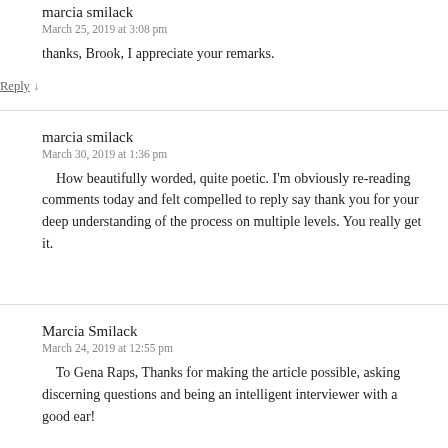marcia smilack
March 25, 2019 at 3:08 pm
thanks, Brook, I appreciate your remarks.
Reply ↓
marcia smilack
March 30, 2019 at 1:36 pm
How beautifully worded, quite poetic. I'm obviously re-reading comments today and felt compelled to reply say thank you for your deep understanding of the process on multiple levels. You really get it.
Marcia Smilack
March 24, 2019 at 12:55 pm
To Gena Raps, Thanks for making the article possible, asking discerning questions and being an intelligent interviewer with a good ear!